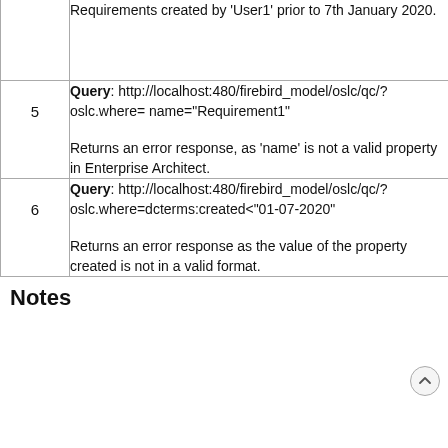| # | Description |
| --- | --- |
|  | Requirements created by 'User1' prior to 7th January 2020. |
| 5 | Query:
http://localhost:480/firebird_model/oslc/qc/?oslc.where= name="Requirement1"

Returns an error response, as 'name' is not a valid property in Enterprise Architect. |
| 6 | Query:
http://localhost:480/firebird_model/oslc/qc/?oslc.where=dcterms:created<"01-07-2020"

Returns an error response as the value of the property created is not in a valid format. |
Notes